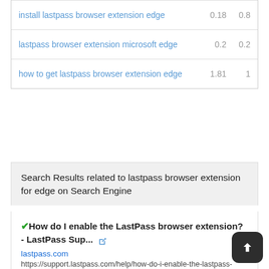| keyword | col1 | col2 |
| --- | --- | --- |
| install lastpass browser extension edge | 0.18 | 0.8 |
| lastpass browser extension microsoft edge | 0.2 | 0.2 |
| how to get lastpass browser extension edge | 1.81 | 1 |
Search Results related to lastpass browser extension for edge on Search Engine
✔How do I enable the LastPass browser extension? - LastPass Sup... 🔗
lastpass.com
https://support.lastpass.com/help/how-do-i-enable-the-lastpass-web-browser-extension-lp070006
How do I enable the LastPass browser extension? Go to